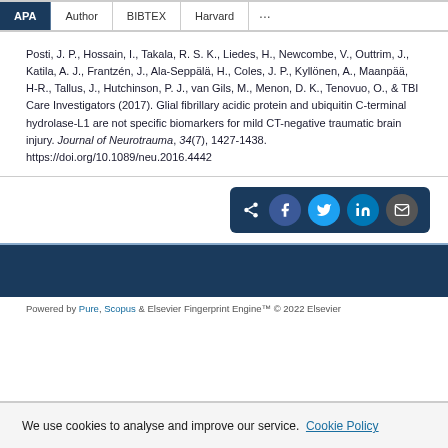Posti, J. P., Hossain, I., Takala, R. S. K., Liedes, H., Newcombe, V., Outtrim, J., Katila, A. J., Frantzén, J., Ala-Seppälä, H., Coles, J. P., Kyllönen, A., Maanpää, H-R., Tallus, J., Hutchinson, P. J., van Gils, M., Menon, D. K., Tenovuo, O., & TBI Care Investigators (2017). Glial fibrillary acidic protein and ubiquitin C-terminal hydrolase-L1 are not specific biomarkers for mild CT-negative traumatic brain injury. Journal of Neurotrauma, 34(7), 1427-1438. https://doi.org/10.1089/neu.2016.4442
[Figure (other): Social share buttons: share icon, Facebook, Twitter, LinkedIn, Email — on dark blue background]
Powered by Pure, Scopus & Elsevier Fingerprint Engine™ © 2022 Elsevier
We use cookies to analyse and improve our service. Cookie Policy